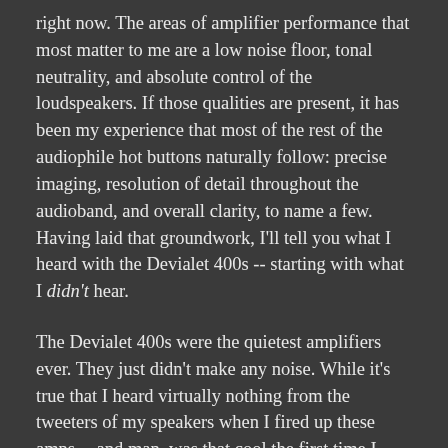right now. The areas of amplifier performance that most matter to me are a low noise floor, tonal neutrality, and absolute control of the loudspeakers. If those qualities are present, it has been my experience that most of the rest of the audiophile hot buttons naturally follow: precise imaging, resolution of detail throughout the audioband, and overall clarity, to name a few. Having laid that groundwork, I'll tell you what I heard with the Devialet 400s -- starting with what I didn't hear.
The Devialet 400s were the quietest amplifiers ever. They just didn't make any noise. While it's true that I heard virtually nothing from the tweeters of my speakers when I fired up these amps -- and man, was that cool the first time I tested it -- it was what I didn't hear at the listening seat that most impressed me. That quietness led to the most complete retrieval of detail I've ever heard from my system. I could simply hear deeper into the music -- more information, both spatial and musical, reached my brain than did from other